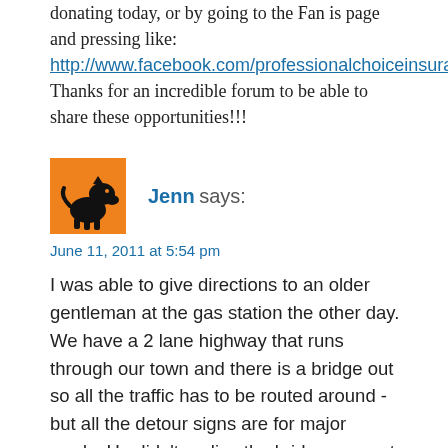donating today, or by going to the Fan is page and pressing like:
http://www.facebook.com/professionalchoiceinsurance.
Thanks for an incredible forum to be able to share these opportunities!!!
[Figure (illustration): Orange square avatar with black cartoon animal (scottie dog) silhouette]
Jenn says:
June 11, 2011 at 5:54 pm
I was able to give directions to an older gentleman at the gas station the other day. We have a 2 lane highway that runs through our town and there is a bridge out so all the traffic has to be routed around - but all the detour signs are for major roads. He didn't realize the bridge was out and was in a hurry to get somewhere just to the other side of where the bridge